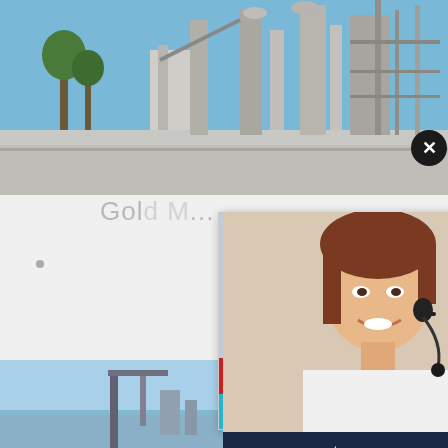[Figure (photo): Industrial cement plant or processing facility with tall structures, silos, and scaffolding against a blue sky with trees]
Gold...
Here at Go... Panning... performance... Free at 1-877-428-4020 or drop us an email if there...
[Figure (screenshot): Live Chat popup overlay with yellow hard-hat workers, red LIVE CHAT heading, Click for a Free Consultation, Chat now and Chat later buttons, and CHAT ONLINE button]
[Figure (screenshot): Right sidebar panel with customer service agent photo, navy blue background, text 'have any requests, click here.', Quotation button, Enquiry link, and email limingjlmofen@sina.com]
[Figure (photo): Bottom photo showing industrial machinery or crane against blue sky]